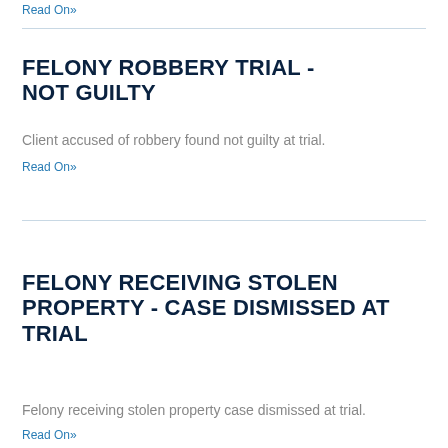Read On»
FELONY ROBBERY TRIAL - NOT GUILTY
Client accused of robbery found not guilty at trial.
Read On»
FELONY RECEIVING STOLEN PROPERTY - CASE DISMISSED AT TRIAL
Felony receiving stolen property case dismissed at trial.
Read On»